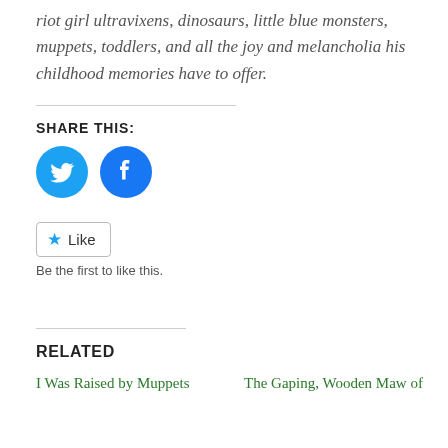riot girl ultravixens, dinosaurs, little blue monsters, muppets, toddlers, and all the joy and melancholia his childhood memories have to offer.
SHARE THIS:
[Figure (other): Twitter and Facebook share icon buttons (circular, blue)]
[Figure (other): Like button widget with star icon and text 'Be the first to like this.']
RELATED
I Was Raised by Muppets
The Gaping, Wooden Maw of